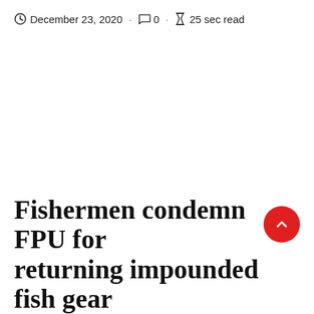December 23, 2020 · 0 · 25 sec read
Fishermen condemn FPU for returning impounded fish gear